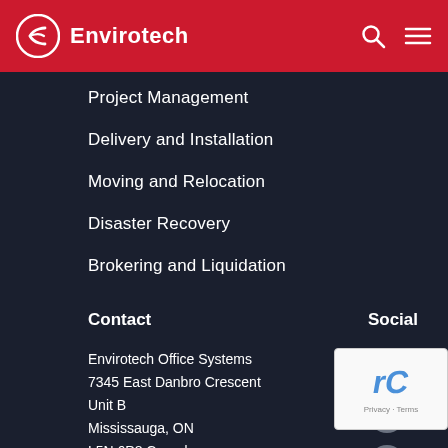Envirotech
Project Management
Delivery and Installation
Moving and Relocation
Disaster Recovery
Brokering and Liquidation
Contact
Social
Envirotech Office Systems
7345 East Danbro Crescent
Unit B
Mississauga, ON
L5N 6P8 Canada

Tel: 1.800.411.6585
[Figure (other): Social media icons: Facebook, Twitter, LinkedIn, Instagram (circular grey buttons)]
[Figure (other): reCAPTCHA Privacy Terms overlay widget]